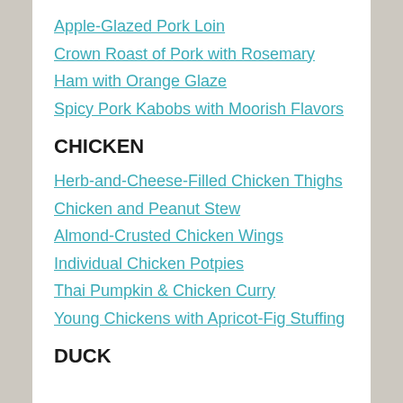Apple-Glazed Pork Loin
Crown Roast of Pork with Rosemary
Ham with Orange Glaze
Spicy Pork Kabobs with Moorish Flavors
CHICKEN
Herb-and-Cheese-Filled Chicken Thighs
Chicken and Peanut Stew
Almond-Crusted Chicken Wings
Individual Chicken Potpies
Thai Pumpkin & Chicken Curry
Young Chickens with Apricot-Fig Stuffing
DUCK